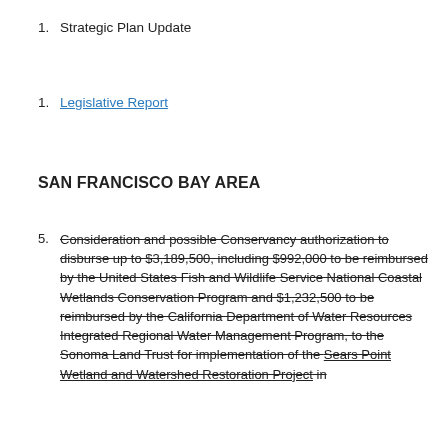1. Strategic Plan Update
1. Legislative Report
SAN FRANCISCO BAY AREA
5. Consideration and possible Conservancy authorization to disburse up to $3,189,500, including $992,000 to be reimbursed by the United States Fish and Wildlife Service National Coastal Wetlands Conservation Program and $1,232,500 to be reimbursed by the California Department of Water Resources Integrated Regional Water Management Program, to the Sonoma Land Trust for implementation of the Sears Point Wetland and Watershed Restoration Project in